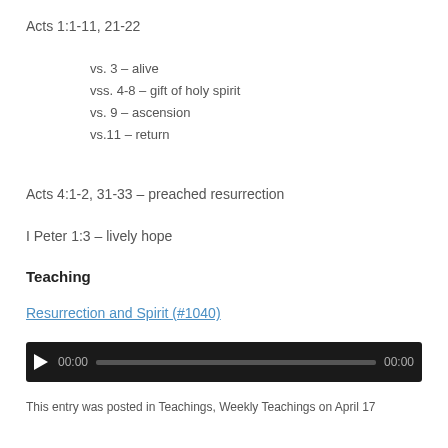Acts 1:1-11, 21-22
vs. 3 – alive
vss. 4-8 – gift of holy spirit
vs. 9 – ascension
vs.11 – return
Acts 4:1-2, 31-33 – preached resurrection
I Peter 1:3 – lively hope
Teaching
Resurrection and Spirit (#1040)
[Figure (other): Audio player widget with play button, time display 00:00, progress bar, and end time 00:00 on dark background]
This entry was posted in Teachings, Weekly Teachings on April 17